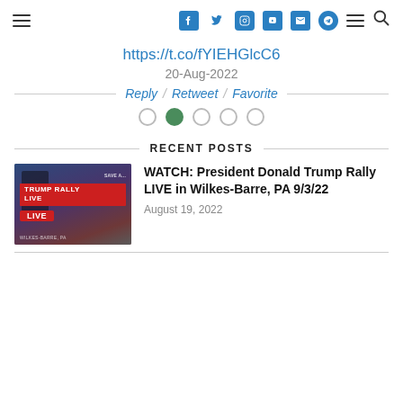Navigation bar with hamburger menu, social icons (Facebook, Twitter, Instagram, YouTube, Email, Telegram), hamburger, search
https://t.co/fYIEHGlcC6
20-Aug-2022
Reply / Retweet / Favorite
RECENT POSTS
[Figure (screenshot): Trump Rally Live thumbnail with red banner text TRUMP RALLY LIVE]
WATCH: President Donald Trump Rally LIVE in Wilkes-Barre, PA 9/3/22
August 19, 2022